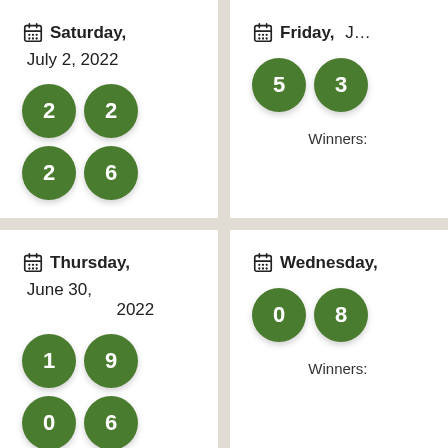Saturday, July 2, 2022 — Balls: 2, 2, 2, 6 — Winners: 304
Friday, J[une/July] — Balls: 5, 3, … — Winners: …
Thursday, June 30, 2022 — Balls: 1, 9, 0, 6 — Winners: 1,555
Wednesday, … — Balls: 0, 8, … — Winners: …